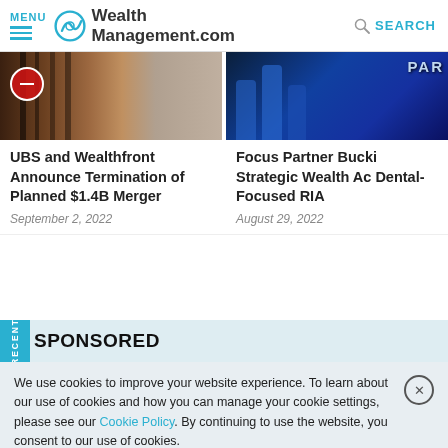MENU | WealthManagement.com | SEARCH
[Figure (photo): Left article image: dark brownish building silhouette with a red circular sign]
[Figure (photo): Right article image: dark blue illuminated sign partially visible reading PAR]
UBS and Wealthfront Announce Termination of Planned $1.4B Merger
September 2, 2022
Focus Partner Bucki Strategic Wealth Ac Dental-Focused RIA
August 29, 2022
SPONSORED
We use cookies to improve your website experience. To learn about our use of cookies and how you can manage your cookie settings, please see our Cookie Policy. By continuing to use the website, you consent to our use of cookies.